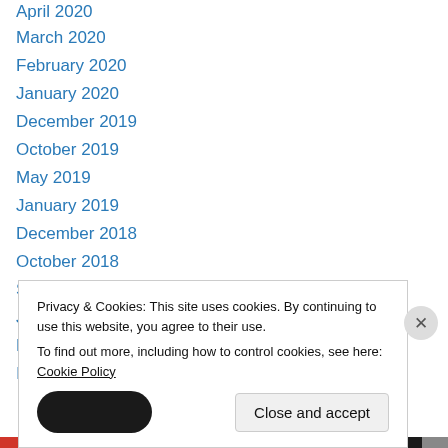April 2020
March 2020
February 2020
January 2020
December 2019
October 2019
May 2019
January 2019
December 2018
October 2018
September 2018
July 2018
May 2018
March 2018
Privacy & Cookies: This site uses cookies. By continuing to use this website, you agree to their use.
To find out more, including how to control cookies, see here: Cookie Policy